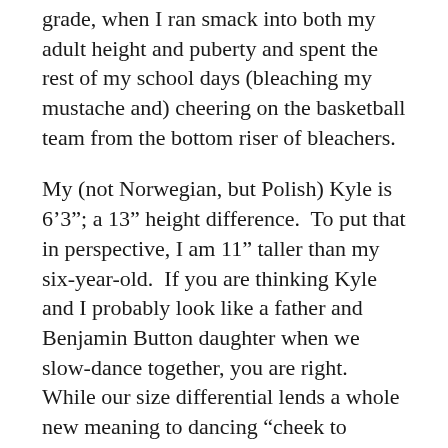grade, when I ran smack into both my adult height and puberty and spent the rest of my school days (bleaching my mustache and) cheering on the basketball team from the bottom riser of bleachers.
My (not Norwegian, but Polish) Kyle is 6’3”; a 13” height difference.  To put that in perspective, I am 11” taller than my six-year-old.  If you are thinking Kyle and I probably look like a father and Benjamin Button daughter when we slow-dance together, you are right.  While our size differential lends a whole new meaning to dancing “cheek to cheek,” it’s usually quite convenient on a day-to-day basis.  For example:
We have a large clear plastic tray.  We bought it to carry food from the kitchen to the grill.  That tray dutifully ferried hot dogs and hamburgers for a number of years and is now ready to be retired to a place outside of our